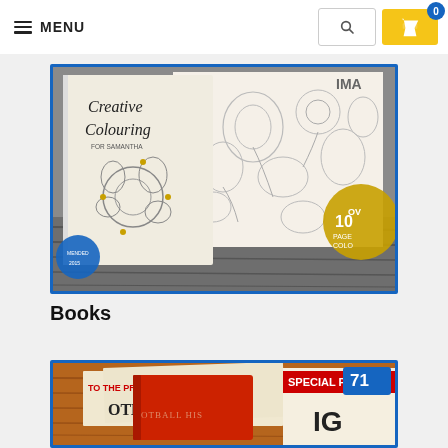≡ MENU
[Figure (photo): Creative Colouring book open on a wooden surface, showing intricate floral and nature patterns in black and white with some gold accents. A gold badge in the corner reads 'Over 100 pages to colour'.]
Books
[Figure (photo): A red book or binder on a wooden surface surrounded by newspaper/magazine clippings about football history. A '71' badge appears in the top right corner. Headlines include 'TO THE PREMI', 'SPECIAL PU', 'IG', 'OTBALL HIS'.]